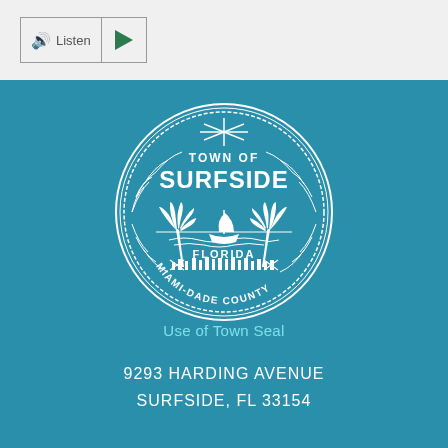[Figure (screenshot): Listen button with speaker icon and play button]
[Figure (logo): Town of Surfside, Florida, Miami-Dade County official seal — circular seal with palm trees, sailboat, and laurel wreath border, white on teal background]
Use of Town Seal
9293 HARDING AVENUE
SURFSIDE, FL 33154

PHONE: 305.861.4863